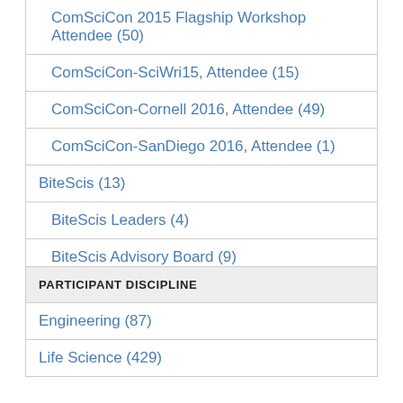| ComSciCon 2015 Flagship Workshop Attendee (50) |
| ComSciCon-SciWri15, Attendee (15) |
| ComSciCon-Cornell 2016, Attendee (49) |
| ComSciCon-SanDiego 2016, Attendee (1) |
| BiteScis (13) |
| BiteScis Leaders (4) |
| BiteScis Advisory Board (9) |
| PARTICIPANT DISCIPLINE |
| --- |
| Engineering (87) |
| Life Science (429) |